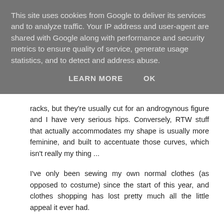This site uses cookies from Google to deliver its services and to analyze traffic. Your IP address and user-agent are shared with Google along with performance and security metrics to ensure quality of service, generate usage statistics, and to detect and address abuse.
LEARN MORE    OK
racks, but they're usually cut for an androgynous figure and I have very serious hips. Conversely, RTW stuff that actually accommodates my shape is usually more feminine, and built to accentuate those curves, which isn't really my thing ...
I've only been sewing my own normal clothes (as opposed to costume) since the start of this year, and clothes shopping has lost pretty much all the little appeal it ever had.
(Hello from a new reader, btw! Got here via Did You Make That? and the Dreaded Jar.)
Reply